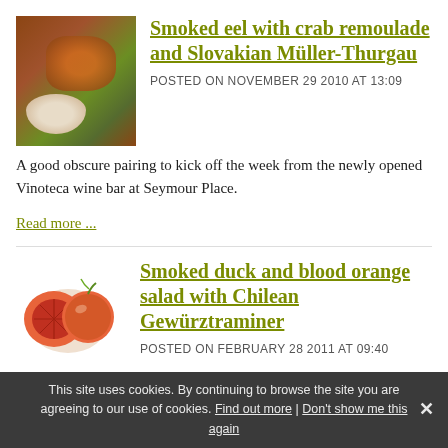[Figure (photo): Thumbnail of smoked eel dish with garnish on a plate]
Smoked eel with crab remoulade and Slovakian Müller-Thurgau
POSTED ON NOVEMBER 29 2010 AT 13:09
A good obscure pairing to kick off the week from the newly opened Vinoteca wine bar at Seymour Place.
Read more ...
[Figure (photo): Blood orange halves illustration]
Smoked duck and blood orange salad with Chilean Gewürztraminer
POSTED ON FEBRUARY 28 2011 AT 09:40
Gewürztraminer is a tricky wine to match, one that one usually falls back on recommending with oriental food, so it's always good to come across something that's outside the Asian register.
This site uses cookies. By continuing to browse the site you are agreeing to our use of cookies. Find out more | Don't show me this again